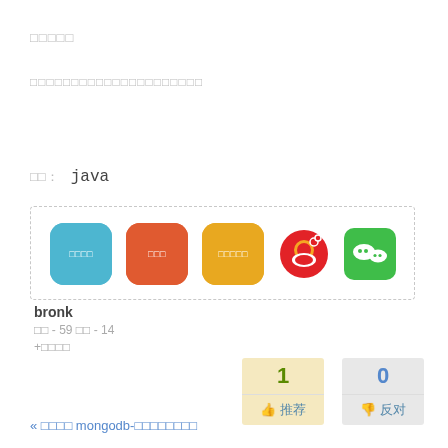□□□□□
□□□□□□□□□□□□□□□□□□□□□
□□: java
[Figure (infographic): Social share buttons in a dashed border box: blue button with Chinese text, orange button, yellow button, Weibo icon, WeChat icon]
bronk
□□ - 59 □□ - 14
+□□□□
[Figure (infographic): Vote buttons: 1 推荐 (recommend) in yellow/green, 0 反对 (oppose) in grey/blue]
« □□□□ mongodb-□□□□□□□□